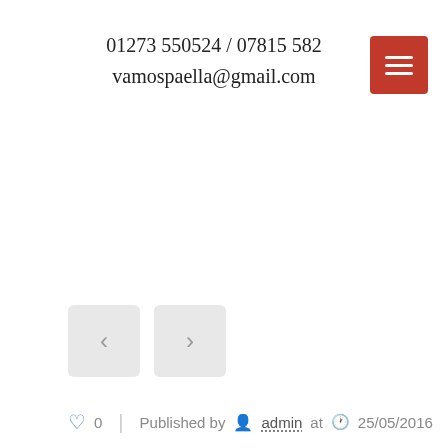01273 550524 / 07815 582
vamospaella@gmail.com
[Figure (other): Red hamburger menu button in top-right corner]
[Figure (other): Left and right navigation arrow buttons]
♡ 0   |   Published by 👤 admin at 🕐 25/05/2016
[Figure (other): Social sharing section with count bubbles (0,0,0) and Share, Tweet, Pin buttons]